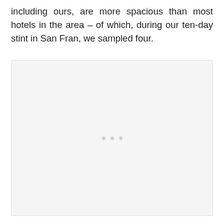including ours, are more spacious than most hotels in the area – of which, during our ten-day stint in San Fran, we sampled four.
[Figure (photo): A large light gray placeholder image area with three small gray dots centered near the bottom third of the box, indicating a loading or placeholder image.]